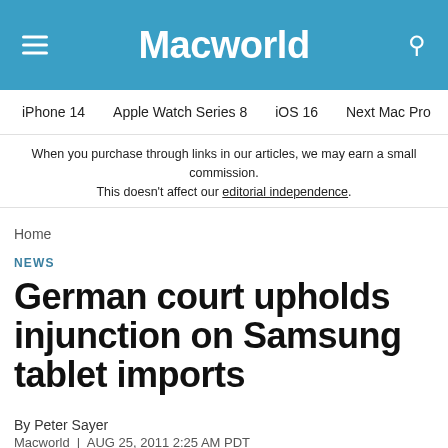Macworld
iPhone 14   Apple Watch Series 8   iOS 16   Next Mac Pro   iPhone d
When you purchase through links in our articles, we may earn a small commission. This doesn't affect our editorial independence.
Home
NEWS
German court upholds injunction on Samsung tablet imports
By Peter Sayer
Macworld  |  AUG 25, 2011 2:25 AM PDT